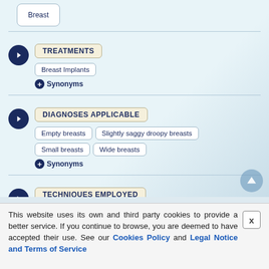Breast
TREATMENTS
Breast Implants
+ Synonyms
DIAGNOSES APPLICABLE
Empty breasts
Slightly saggy droopy breasts
Small breasts
Wide breasts
+ Synonyms
TECHNIQUES EMPLOYED
Anatomical shape
Lower hemi periareolar incision
Subfascial pocket plane
This website uses its own and third party cookies to provide a better service. If you continue to browse, you are deemed to have accepted their use. See our Cookies Policy and Legal Notice and Terms of Service